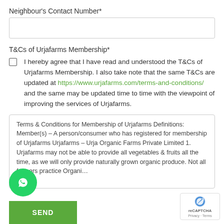Neighbour's Contact Number*
T&Cs of Urjafarms Membership*
I hereby agree that I have read and understood the T&Cs of Urjafarms Membership. I also take note that the same T&Cs are updated at https://www.urjafarms.com/terms-and-conditions/ and the same may be updated time to time with the viewpoint of improving the services of Urjafarms.
Terms & Conditions for Membership of Urjafarms Definitions: Member(s) – A person/consumer who has registered for membership of Urjafarms Urjafarms – Urja Organic Farms Private Limited 1. Urjafarms may not be able to provide all vegetables & fruits all the time, as we will only provide naturally grown organic produce. Not all farmers practice Organi...